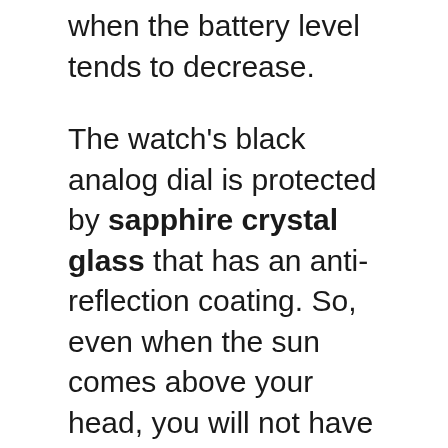when the battery level tends to decrease.
The watch's black analog dial is protected by sapphire crystal glass that has an anti-reflection coating. So, even when the sun comes above your head, you will not have to face any difficulty in seeing the time. And it also protects the dial from scratches.
Moreover, the automatic self-winding movement allows the timepiece to run using the wearer's wrist movement. It also has an open aperture and a naked case back that allows you to peek into the inner mechanism. The water-resistant rating of 200m makes it a perfect affordable watch for divers. You can also track the time you've spent underwater with the help of the